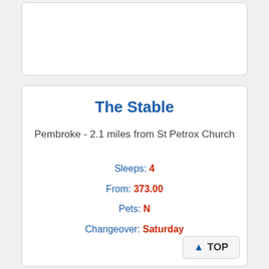[Figure (other): Top card placeholder area (image or empty card)]
The Stable
Pembroke - 2.1 miles from St Petrox Church
Sleeps: 4
From: 373.00
Pets: N
Changeover: Saturday